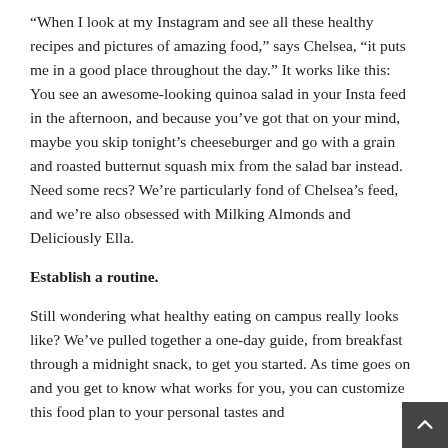“When I look at my Instagram and see all these healthy recipes and pictures of amazing food,” says Chelsea, “it puts me in a good place throughout the day.” It works like this: You see an awesome-looking quinoa salad in your Insta feed in the afternoon, and because you’ve got that on your mind, maybe you skip tonight’s cheeseburger and go with a grain and roasted butternut squash mix from the salad bar instead. Need some recs? We’re particularly fond of Chelsea’s feed, and we’re also obsessed with Milking Almonds and Deliciously Ella.
Establish a routine.
Still wondering what healthy eating on campus really looks like? We’ve pulled together a one-day guide, from breakfast through a midnight snack, to get you started. As time goes on and you get to know what works for you, you can customize this food plan to your personal tastes and